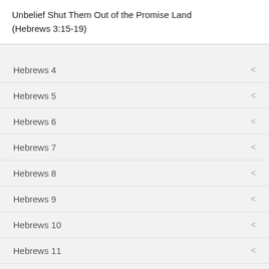Unbelief Shut Them Out of the Promise Land (Hebrews 3:15-19)
Hebrews 4
Hebrews 5
Hebrews 6
Hebrews 7
Hebrews 8
Hebrews 9
Hebrews 10
Hebrews 11
Hebrews 12
Hebrews 13